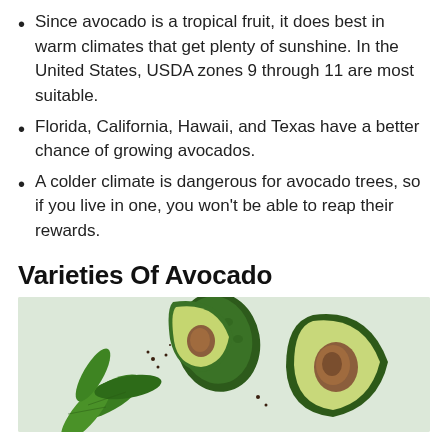Since avocado is a tropical fruit, it does best in warm climates that get plenty of sunshine. In the United States, USDA zones 9 through 11 are most suitable.
Florida, California, Hawaii, and Texas have a better chance of growing avocados.
A colder climate is dangerous for avocado trees, so if you live in one, you won't be able to reap their rewards.
Varieties Of Avocado
[Figure (photo): Photo of multiple avocados — whole green avocados, a halved avocado showing the seed, and green leaves scattered on a light background.]